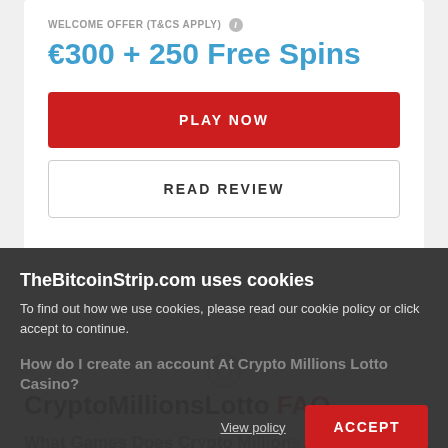WELCOME OFFER (T&CS APPLY) ℹ
€300 + 250 Free Spins
PLAY NOW
READ REVIEW
CryptoMillionsLotto FAQ
What Games Does Crypto Millions Lotto Casino Offer?
TheBitcoinStrip.com uses cookies
To find out how we use cookies, please read our cookie policy or click accept to continue.
View policy
ACCEPT
How do I create an account At Crypto Millions Lotto Casino?